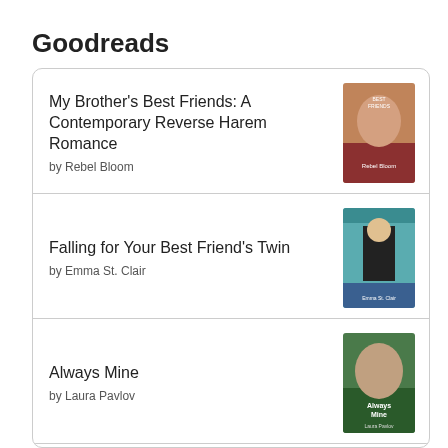Goodreads
My Brother's Best Friends: A Contemporary Reverse Harem Romance by Rebel Bloom
Falling for Your Best Friend's Twin by Emma St. Clair
Always Mine by Laura Pavlov
Benched Boxed Set by Colleen Charles
Scored